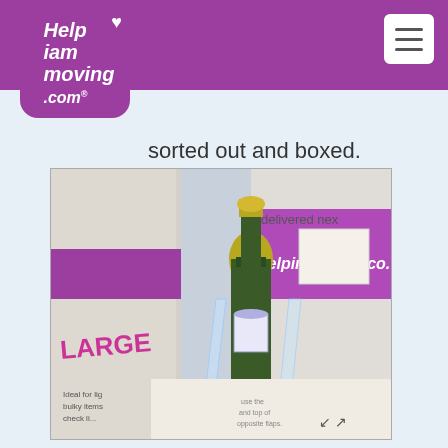[Figure (logo): Help I Am Moving .com logo - white italic text on purple rounded square with heart icon]
[Figure (screenshot): Navigation menu button (hamburger icon) top right]
sorted out and boxed.
[Figure (photo): Photo of a champagne bottle with two champagne flutes in front of moving boxes branded with HelpingBoxes.co.uk, showing a large box labeled LARGE with purple branding]